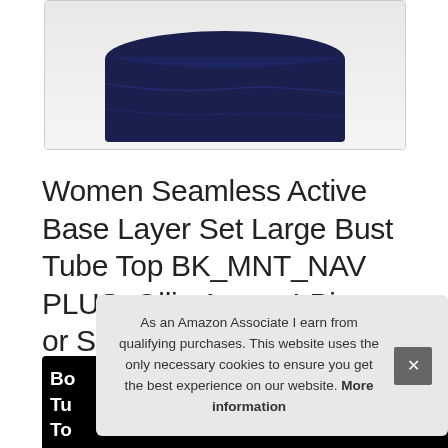[Figure (photo): Cropped product image showing a navy blue seamless tube top/bandeau garment against white background with rounded border]
Women Seamless Active Base Layer Set Large Bust Tube Top BK_MNT_NAV PLUS, Ollie Arnes 4 Pieces or Single Strapless Plus Size Bandeau Bra
#ad
[Figure (photo): Bottom strip showing partial product images with bold white text labels on black background showing 'Bo', 'Tu', 'To']
As an Amazon Associate I earn from qualifying purchases. This website uses the only necessary cookies to ensure you get the best experience on our website. More information